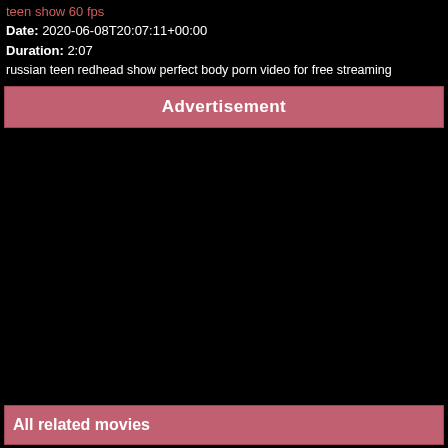teen show 60 fps
Date: 2020-06-08T20:07:11+00:00
Duration: 2:07
russian teen redhead show perfect body porn video for free streaming
Advertisement
[Figure (other): Black video player area]
All related movies
[Figure (other): Two thumbnail placeholders at the bottom]